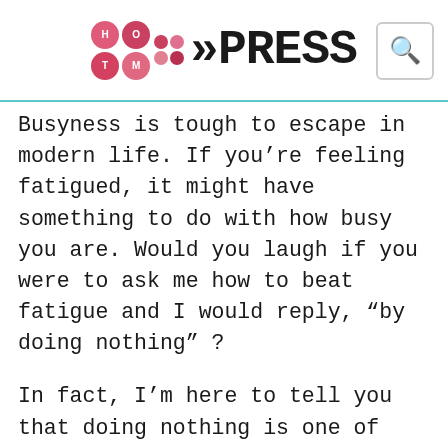HotMessPress
Busyness is tough to escape in modern life. If you’re feeling fatigued, it might have something to do with how busy you are. Would you laugh if you were to ask me how to beat fatigue and I would reply, “by doing nothing” ?
In fact, I’m here to tell you that doing nothing is one of the best things you can do. Of course, you don’t want it to be a permanent lifestyle. However, if you take one day to do nothing, you’ll be doing something — you’ll be allowing yourself to